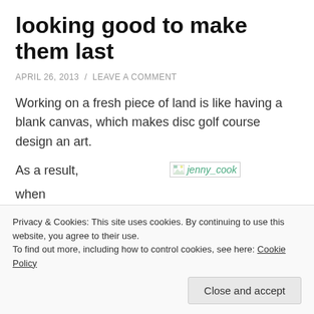looking good to make them last
APRIL 26, 2013 / LEAVE A COMMENT
Working on a fresh piece of land is like having a blank canvas, which makes disc golf course design an art.
As a result, when designers and contributors
[Figure (photo): Broken image placeholder showing 'jenny_cook' in teal italic text]
Privacy & Cookies: This site uses cookies. By continuing to use this website, you agree to their use. To find out more, including how to control cookies, see here: Cookie Policy
Close and accept